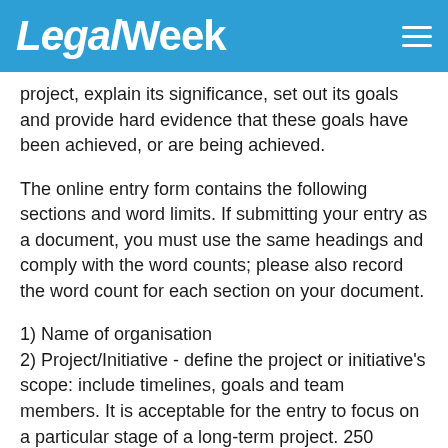LegalWeek
project, explain its significance, set out its goals and provide hard evidence that these goals have been achieved, or are being achieved.
The online entry form contains the following sections and word limits. If submitting your entry as a document, you must use the same headings and comply with the word counts; please also record the word count for each section on your document.
1) Name of organisation
2) Project/Initiative - define the project or initiative's scope: include timelines, goals and team members. It is acceptable for the entry to focus on a particular stage of a long-term project. 250 words.